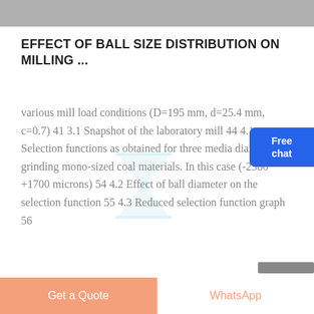[Figure (photo): Gray machinery/industrial background image at top of page]
EFFECT OF BALL SIZE DISTRIBUTION ON MILLING ...
various mill load conditions (D=195 mm, d=25.4 mm, c=0.7) 41 3.1 Snapshot of the laboratory mill 44 4.1 Selection functions as obtained for three media diameters grinding mono-sized coal materials. In this case (-2360 +1700 microns) 54 4.2 Effect of ball diameter on the selection function 55 4.3 Reduced selection function graph 56
[Figure (illustration): Hourglass/loading icon watermark overlay on text]
[Figure (illustration): Free chat button with person illustration on right side]
Get a Quote   WhatsApp